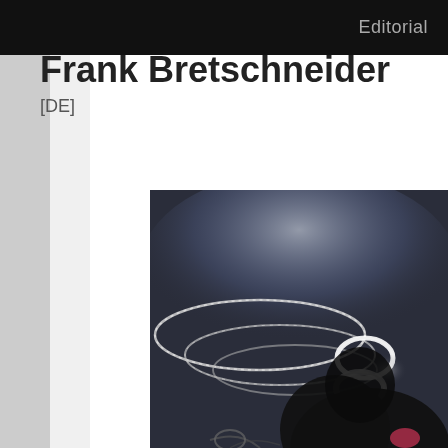Editorial
Frank Bretschneider
[DE]
[Figure (photo): A dark atmospheric photo showing glowing light rings/spirals against a dark background with a silhouetted figure beneath]